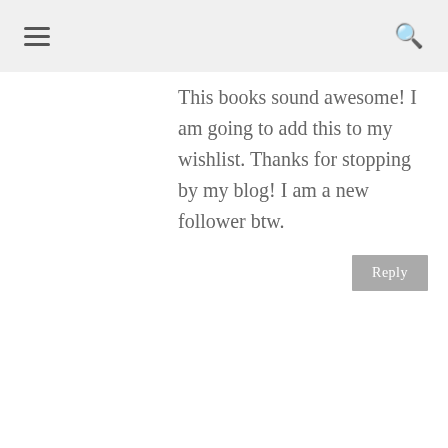≡  🔍
This books sound awesome! I am going to add this to my wishlist. Thanks for stopping by my blog! I am a new follower btw.
Reply
KRISTI THE BOOK FAERY
March 2, 2011 at 11:45 AM
Hi Guys! This book is definitely going on my TBR pile! Thanks for posting such a grea WOW choice!